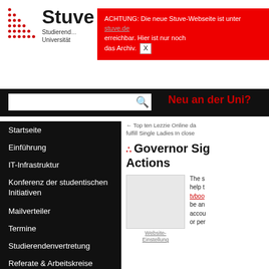[Figure (logo): Stuve logo with red dot grid pattern and text 'Stuve Studierenden Universität']
ACHTUNG: Die neue Stuve-Webseite ist unter [link] erreichbar. Hier ist nur noch das Archiv. X
[Figure (screenshot): Search bar with magnifying glass icon on black background, and 'Neu an der Uni?' link in red]
Startseite
Einführung
IT-Infrastruktur
Konferenz der studentischen Initiativen
Mailverteiler
Termine
Studierendenvertretung
Referate & Arbeitskreise
← Top ten Lezzie Online da fulfill Single Ladies In close
Governor Sig Actions
The s help t tvboo be an accou or per
Website-Einstellung